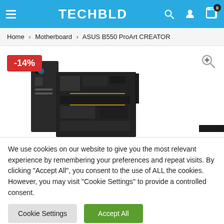TECHBLD
Home > Motherboard > ASUS B550 ProArt CREATOR
[Figure (photo): ASUS B550 ProArt CREATOR motherboard product image with -14% discount badge and zoom icon]
We use cookies on our website to give you the most relevant experience by remembering your preferences and repeat visits. By clicking "Accept All", you consent to the use of ALL the cookies. However, you may visit "Cookie Settings" to provide a controlled consent.
Cookie Settings | Accept All